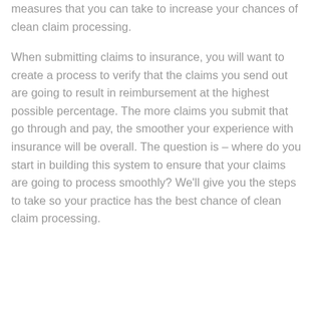measures that you can take to increase your chances of clean claim processing.
When submitting claims to insurance, you will want to create a process to verify that the claims you send out are going to result in reimbursement at the highest possible percentage. The more claims you submit that go through and pay, the smoother your experience with insurance will be overall. The question is – where do you start in building this system to ensure that your claims are going to process smoothly? We'll give you the steps to take so your practice has the best chance of clean claim processing.